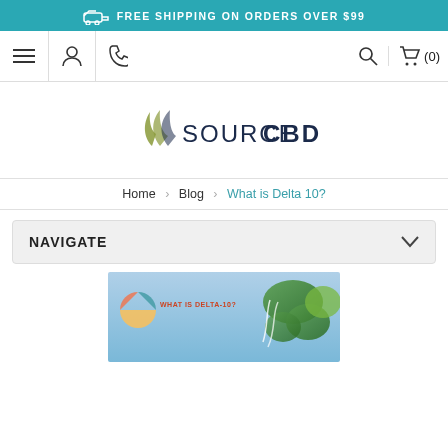FREE SHIPPING ON ORDERS OVER $99
[Figure (screenshot): Website navigation bar with hamburger menu, user icon, phone icon, search icon, and cart (0)]
[Figure (logo): SourceCBD logo with stylized flame/leaf icon and text SOURCECBD]
Home > Blog > What is Delta 10?
NAVIGATE
[Figure (photo): Article header image showing cannabis plant close-up with 'What is Delta-10?' text overlay and SourceCBD circular logo]